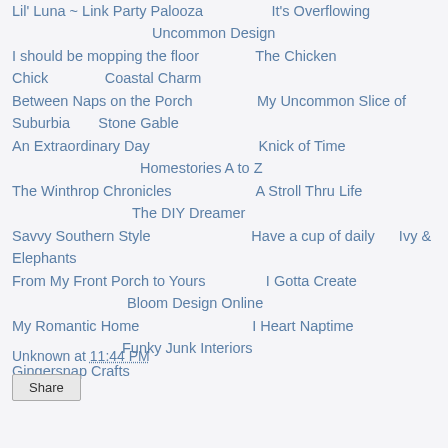Lil' Luna ~ Link Party Palooza   It's Overflowing   Uncommon Design   I should be mopping the floor   The Chicken Chick   Coastal Charm   Between Naps on the Porch   My Uncommon Slice of Suburbia   Stone Gable   An Extraordinary Day   Knick of Time   Homestories A to Z   The Winthrop Chronicles   A Stroll Thru Life   The DIY Dreamer   Savvy Southern Style   Have a cup of daily   Ivy & Elephants   From My Front Porch to Yours   I Gotta Create   Bloom Design Online   My Romantic Home   I Heart Naptime   Funky Junk Interiors   Gingersnap Crafts
Unknown at 11:44 PM
Share